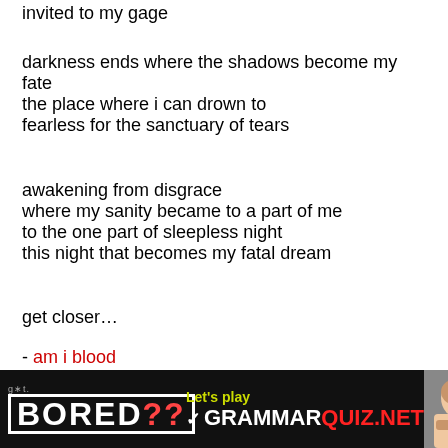invited to my gage
darkness ends where the shadows become my fate
the place where i can drown to
fearless for the sanctuary of tears
awakening from disgrace
where my sanity became to a part of me
to the one part of sleepless night
this night that becomes my fatal dream
get closer…
- am i blood
[Figure (other): Footer advertisement banner: 'got BORED??' on left in white bold text on black background, center says 'Let's play GRAMMARQUIZ.NET' in yellow/white/red, right shows a photo of a person resting their face on their hands]